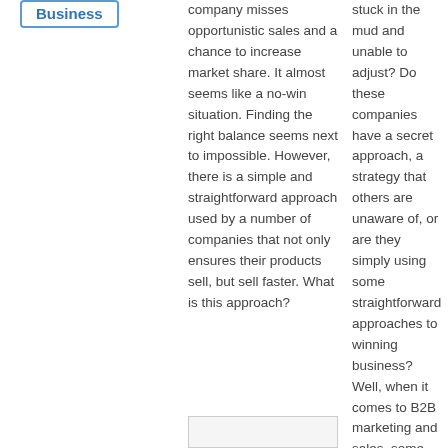Business
company misses opportunistic sales and a chance to increase market share. It almost seems like a no-win situation. Finding the right balance seems next to impossible. However, there is a simple and straightforward approach used by a number of companies that not only ensures their products sell, but sell faster. What is this approach?
stuck in the mud and unable to adjust? Do these companies have a secret approach, a strategy that others are unaware of, or are they simply using some straightforward approaches to winning business? Well, when it comes to B2B marketing and sales, some companies are just better at performing a gap analysis than others. What is a gap analysis and how does it help